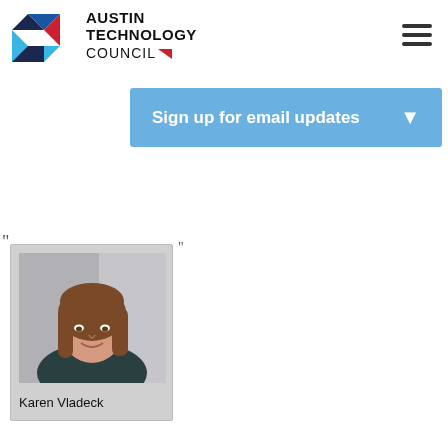[Figure (logo): Austin Technology Council logo with geometric triangular shapes in blue, red, cyan and the text AUSTIN TECHNOLOGY COUNCIL]
Sign up for email updates ▼
"
"
[Figure (photo): Professional headshot of Karen Vladeck, a woman with long brown hair smiling, wearing a dark blazer]
Karen Vladeck